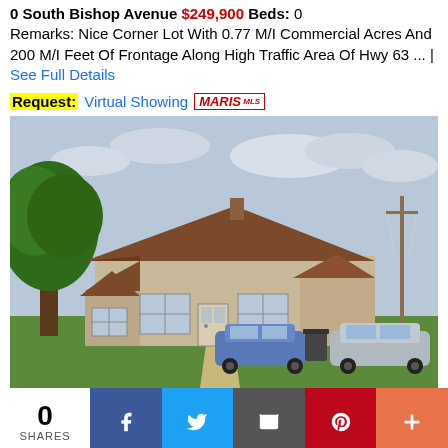0 South Bishop Avenue $249,900 Beds: 0
Remarks: Nice Corner Lot With 0.77 M/I Commercial Acres And 200 M/I Feet Of Frontage Along High Traffic Area Of Hwy 63 ... | See Full Details
Request: Virtual Showing MARIS MLS
[Figure (photo): Exterior photo of a small single-story house with a brown/dark roof, white/beige siding, green lawn, large tree on the left, a concrete walkway to the front door, a blue car and a silver car parked on a gravel driveway, utility poles visible on the right, overcast sky.]
0 SHARES | Share buttons: Facebook, Twitter, Email, Pinterest, More